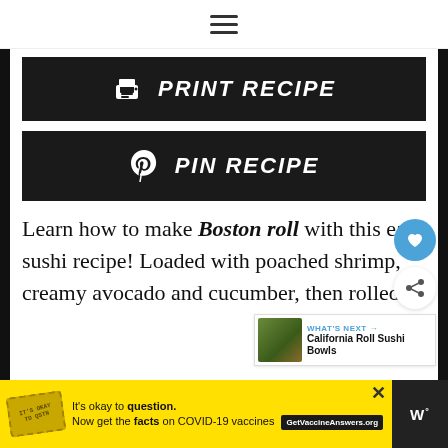☰ (hamburger menu icon)
PRINT RECIPE
PIN RECIPE
Learn how to make Boston roll with this easy sushi recipe! Loaded with poached shrimp, creamy avocado and cucumber, then rolled
WHAT'S NEXT → California Roll Sushi Bowls
It's okay to question. Now get the facts on COVID-19 vaccines GetVaccineAnswers.org